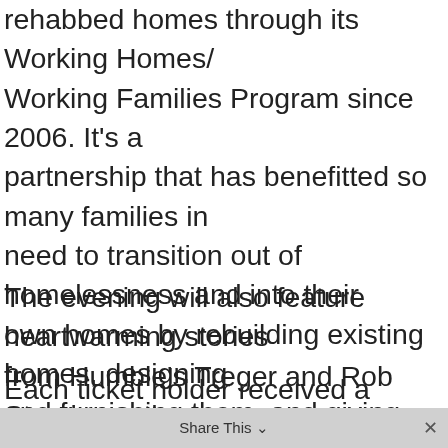rehabbed homes through its Working Homes/Working Families Program since 2006. It's a partnership that has benefitted so many families in need to transition out of homelessness and into their own homes by rebuilding existing homes, designing and furnishing them, and giving each family a safe, secure environment in which to grow and thrive.
The evening will also feature heartwarming stories from Humble's Treger and Rob Strasberg, the families who have benefitted from the collaborative Humble/SAY efforts, and a special Detroit launching of Mitch Albom's latest book, Finding Chika: A Little Girl, an Earthquake, and the Making of a Family.
Each ticket holder received a signed copy of the book and Humble Design specialty T-shirt!
Share This